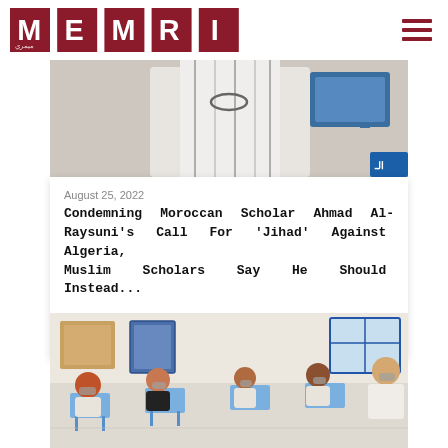MEMRI
[Figure (photo): Partial view of a person in white traditional dress, cropped at chest level, with a TV screen partially visible in background]
August 25, 2022
Condemning Moroccan Scholar Ahmad Al-Raysuni's Call For 'Jihad' Against Algeria, Muslim Scholars Say He Should Instead...
[Figure (photo): Classroom scene with male students in white traditional dress (some wearing face masks) seated at blue desks, and a teacher in white traditional attire standing at right; bulletin boards visible on wall]